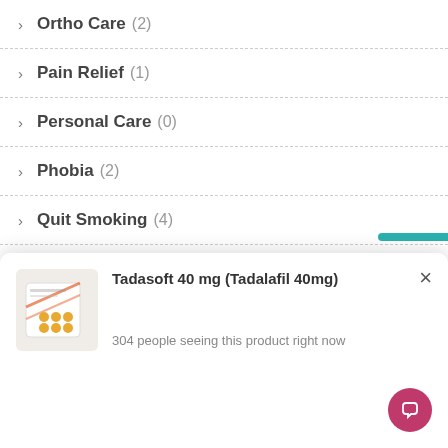Ortho Care (2)
Pain Relief (1)
Personal Care (0)
Phobia (2)
Quit Smoking (4)
Sildenafil Dapoxetine (11)
[Figure (screenshot): Popup notification showing product: Tadasoft 40 mg (Tadalafil 40mg) with pill box image and text '304 people seeing this product right now'. Close button (X) in top right. Pink chat button bottom right.]
Sildenafil/Vardenafil (1)